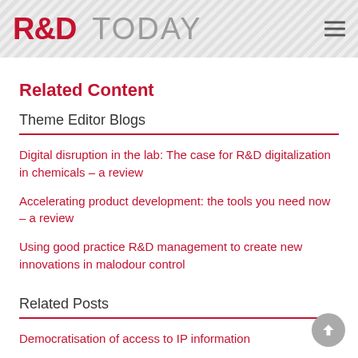R&D TODAY
Related Content
Theme Editor Blogs
Digital disruption in the lab: The case for R&D digitalization in chemicals – a review
Accelerating product development: the tools you need now – a review
Using good practice R&D management to create new innovations in malodour control
Related Posts
Democratisation of access to IP information